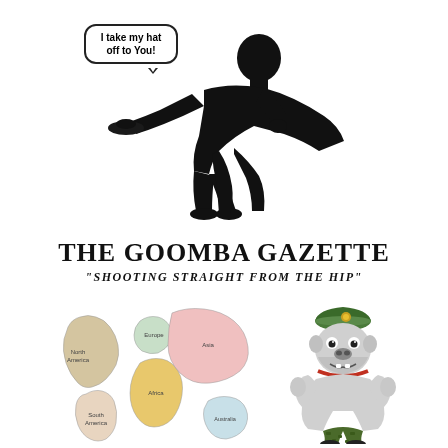[Figure (illustration): Silhouette of a person bowing and tipping their hat, with a speech bubble saying 'I take my hat off to You!']
THE GOOMBA GAZETTE
"SHOOTING STRAIGHT FROM THE HIP"
[Figure (illustration): Colorful world map showing continents labeled: North America, South America, Europe, Africa, Asia, Australia/Oceania]
[Figure (illustration): Cartoon bulldog mascot wearing a green military beret and camouflage pants, flexing muscles]